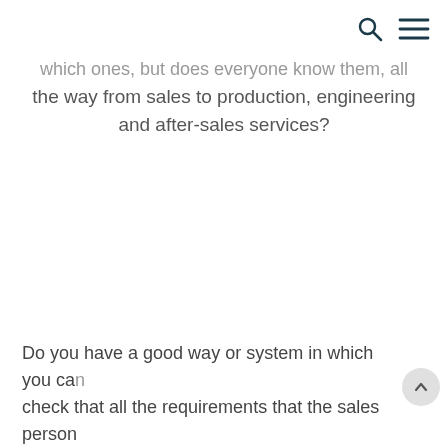which ones, but does everyone know them, all the way from sales to production, engineering and after-sales services?
Do you have a good way or system in which you can check that all the requirements that the sales person